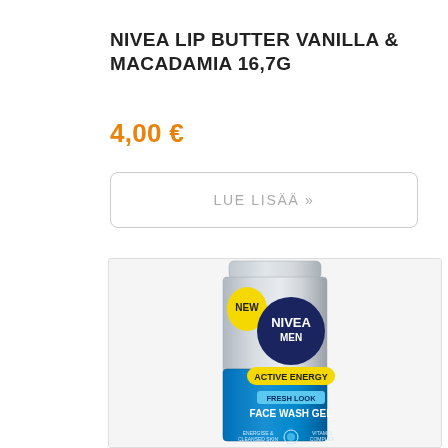NIVEA LIP BUTTER VANILLA & MACADAMIA 16,7G
4,00 €
LUE LISÄÄ »
[Figure (photo): NIVEA MEN Active Energy Fresh Look Face Wash Gel product tube with yellow 'NEW' badge, dark blue circular NIVEA MEN logo, yellow Active Energy label, and blue Fresh Look Face Wash Gel label at bottom]